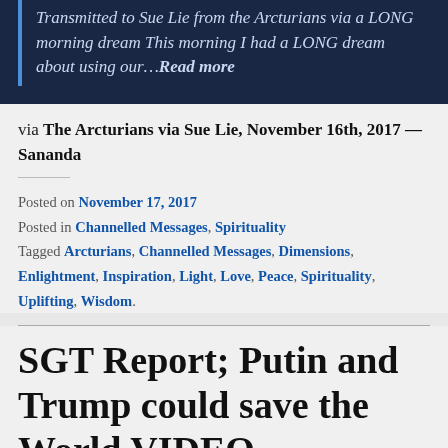Transmitted to Sue Lie from the Arcturians via a LONG morning dream This morning I had a LONG dream about using our...Read more
via The Arcturians via Sue Lie, November 16th, 2017 — Sananda
Posted on November 17, 2017
Posted in Channelled Messages, Spirituality
Tagged Arcturians, Channelled Messages, Dimensions, Enlightment, Inspiration, Light, Love, Peace, Spirituality, Uplifting, Wisdom.
SGT Report; Putin and Trump could save the World VIDEO, November...